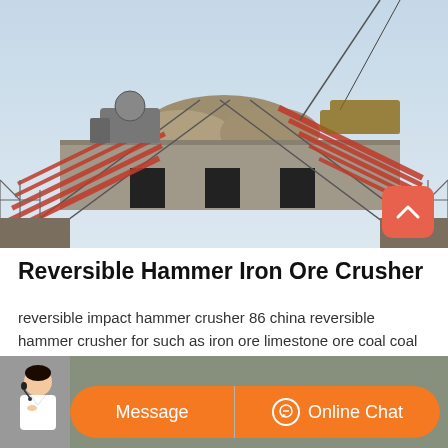[Figure (photo): Outdoor industrial mining/crushing facility with conveyor belts, scaffolding, machinery and piles of ore or aggregate material at a construction or quarry site. Blue sky in background.]
Reversible Hammer Iron Ore Crusher
reversible impact hammer crusher 86 china reversible hammer crusher for such as iron ore limestone ore coal coal gangue slag shale coke and etc.
[Figure (photo): Bottom banner with a customer service representative (woman with headset) on left, and two orange buttons: 'Message' on left and 'Online Chat' on right with a chat icon.]